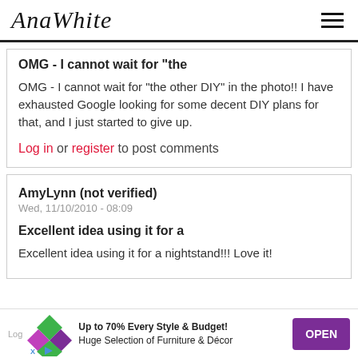AnaWhite
OMG - I cannot wait for "the
OMG - I cannot wait for "the other DIY" in the photo!! I have exhausted Google looking for some decent DIY plans for that, and I just started to give up.
Log in or register to post comments
AmyLynn (not verified)
Wed, 11/10/2010 - 08:09
Excellent idea using it for a
Excellent idea using it for a nightstand!!! Love it!
Log in or register to post comments